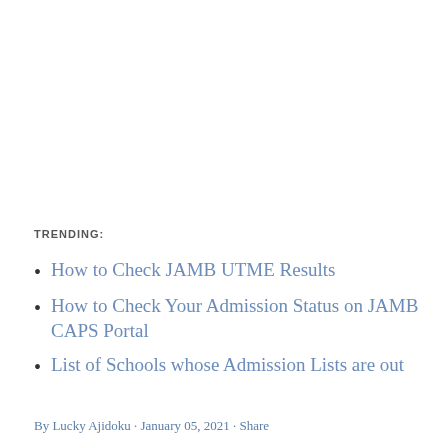TRENDING:
How to Check JAMB UTME Results
How to Check Your Admission Status on JAMB CAPS Portal
List of Schools whose Admission Lists are out
By Lucky Ajidoku · January 05, 2021 · Share